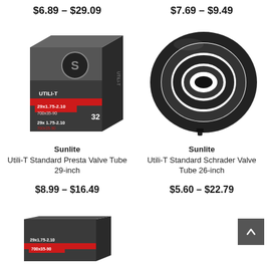$6.89 – $29.09
$7.69 – $9.49
[Figure (photo): Sunlite Utili-T Standard Presta Valve Tube 29-inch product box, dark grey and red packaging]
[Figure (photo): Sunlite Utili-T Standard Schrader Valve Tube 26-inch, black inner tube coiled]
Sunlite Utili-T Standard Presta Valve Tube 29-inch
Sunlite Utili-T Standard Schrader Valve Tube 26-inch
$8.99 – $16.49
$5.60 – $22.79
[Figure (photo): Sunlite product box, partially visible at bottom of page]